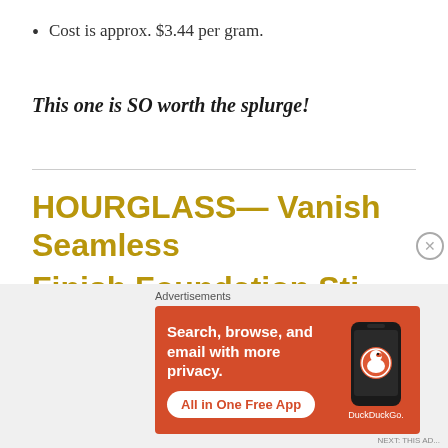Cost is approx. $3.44 per gram.
This one is SO worth the splurge!
HOURGLASS— Vanish Seamless
[Figure (screenshot): DuckDuckGo advertisement banner with orange background showing 'Search, browse, and email with more privacy. All in One Free App' with a phone image and DuckDuckGo logo. Labeled 'Advertisements'.]